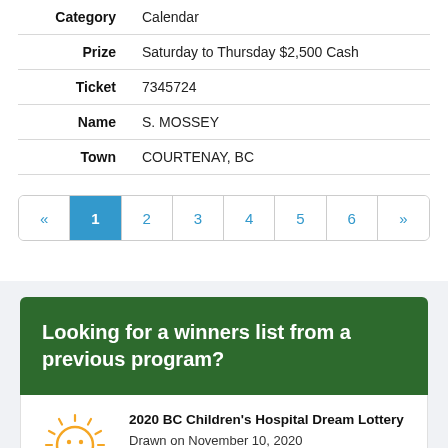| Label | Value |
| --- | --- |
| Category | Calendar |
| Prize | Saturday to Thursday $2,500 Cash |
| Ticket | 7345724 |
| Name | S. MOSSEY |
| Town | COURTENAY, BC |
Pagination: « 1 2 3 4 5 6 »
Looking for a winners list from a previous program?
[Figure (logo): BC Children's Hospital logo with sun and face design, orange and blue colors]
2020 BC Children's Hospital Dream Lottery
Drawn on November 10, 2020